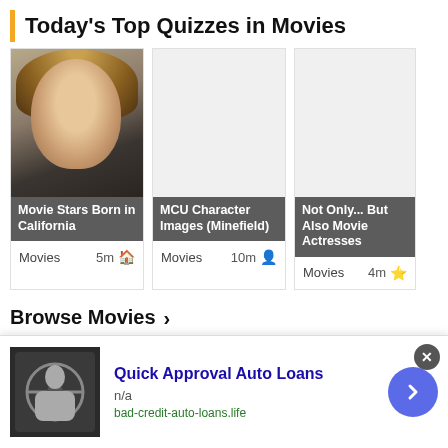Today's Top Quizzes in Movies
[Figure (photo): Quiz card: Movie Stars Born in California - photo of blonde woman]
[Figure (photo): Quiz card: MCU Character Images (Minefield) - gray placeholder]
[Figure (photo): Quiz card: Not Only... But Also Movie Actresses - gray placeholder]
Movies   5m
Movies   10m
Movies   4m
Browse Movies
Today's Top Quizzes in Actor
[Figure (photo): Actor quiz card thumbnails - partial view]
[Figure (advertisement): Ad: Quick Approval Auto Loans - bad-credit-auto-loans.life]